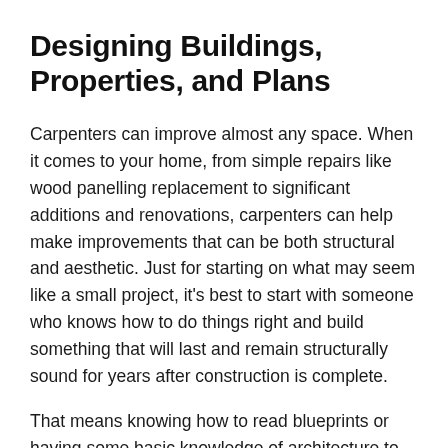Designing Buildings, Properties, and Plans
Carpenters can improve almost any space. When it comes to your home, from simple repairs like wood panelling replacement to significant additions and renovations, carpenters can help make improvements that can be both structural and aesthetic. Just for starting on what may seem like a small project, it's best to start with someone who knows how to do things right and build something that will last and remain structurally sound for years after construction is complete.
That means knowing how to read blueprints or having some basic knowledge of architecture to know what type of materials you need for each part of your renovation. Hence, carpentry isn't just about creating structures. It's